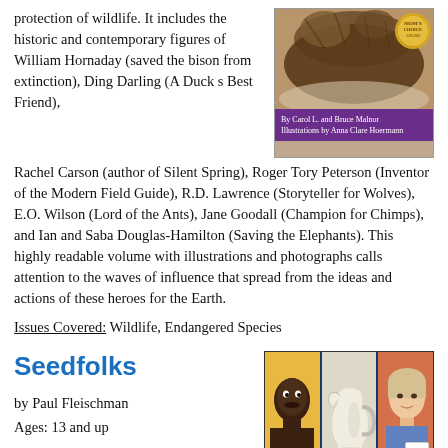protection of wildlife. It includes the historic and contemporary figures of William Hornaday (saved the bison from extinction), Ding Darling (A Duck s Best Friend), Rachel Carson (author of Silent Spring), Roger Tory Peterson (Inventor of the Modern Field Guide), R.D. Lawrence (Storyteller for Wolves), E.O. Wilson (Lord of the Ants), Jane Goodall (Champion for Chimps), and Ian and Saba Douglas-Hamilton (Saving the Elephants). This highly readable volume with illustrations and photographs calls attention to the waves of influence that spread from the ideas and actions of these heroes for the Earth.
[Figure (illustration): Book cover showing a brown furry animal (possibly a bear or bison) at top, with a purple band showing author credits: 'By Carol L. and Bruce Malnor, Illustrations by Anna Clare Hoermann'. A gold award badge appears in the upper right corner.]
Issues Covered: Wildlife, Endangered Species
Seedfolks
by Paul Fleischman
Ages: 13 and up
[Figure (illustration): Book cover for Seedfolks showing three illustrated portrait panels: a dark-skinned man with mustache on yellow background, a white pitcher/jug on light background, and a woman with light hair on orange-red background. Dark navy blue border surrounds the panels.]